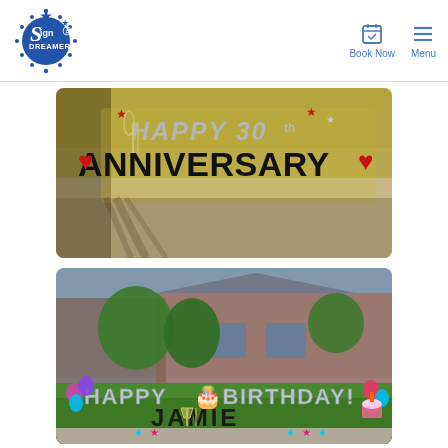[Figure (logo): Sign Dreamers logo — circular badge with stars and stylized script text 'Sign Dreamers' in blue]
Book Now
Menu
[Figure (photo): Yard sign display reading 'HAPPY 30th ANNIVERSARY' with large black letters, silver/gray glitter letters, red heart decorations and star decorations, placed in a yard/driveway setting with tree shadows]
[Figure (photo): Yard sign display in front of a brick house reading 'HAPPY BIRTHDAY! JAMIE' with large silver/gray letters, balloon decorations in pink/purple/teal, star decorations, cupcake decoration, placed on a green lawn]